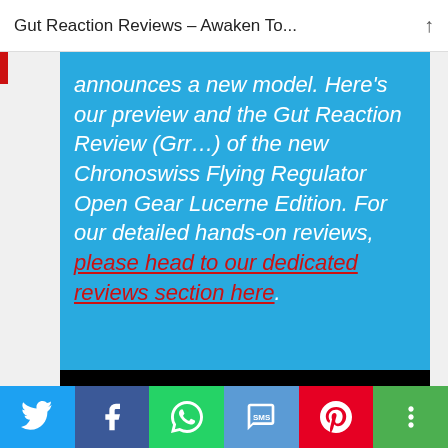Gut Reaction Reviews – Awaken To...
announces a new model. Here's our preview and the Gut Reaction Review (Grr…) of the new Chronoswiss Flying Regulator Open Gear Lucerne Edition. For our detailed hands-on reviews, please head to our dedicated reviews section here.
[Figure (photo): Close-up photo of a Chronoswiss Flying Regulator Open Gear Lucerne Edition watch with dark blue leather strap on black background]
Social sharing bar: Twitter, Facebook, WhatsApp, SMS, Pinterest, More